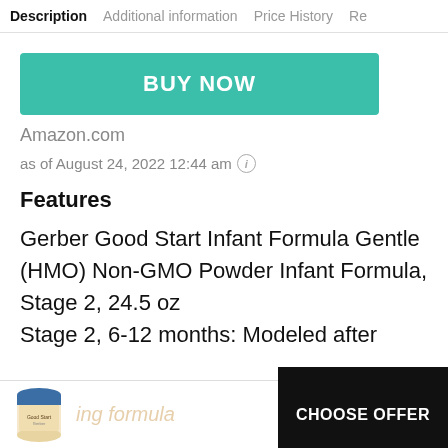Description  Additional information  Price History  Re
[Figure (other): Teal BUY NOW button]
Amazon.com
as of August 24, 2022 12:44 am ⓘ
Features
Gerber Good Start Infant Formula Gentle (HMO) Non-GMO Powder Infant Formula, Stage 2, 24.5 oz
Stage 2, 6-12 months: Modeled after
[Figure (photo): Small product image of Gerber Good Start formula can]
CHOOSE OFFER